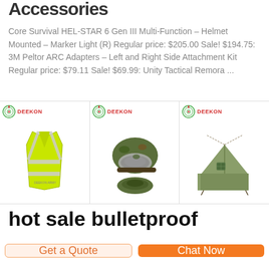Accessories
Core Survival HEL-STAR 6 Gen III Multi-Function – Helmet Mounted – Marker Light (R) Regular price: $205.00 Sale! $194.75: 3M Peltor ARC Adapters – Left and Right Side Attachment Kit Regular price: $79.11 Sale! $69.99: Unity Tactical Remora …
[Figure (photo): Three product images with DEEKON branding: (1) yellow high-visibility safety vest, (2) camouflage tactical helmet/knee pads, (3) olive military tent]
hot sale bulletproof
Get a Quote
Chat Now